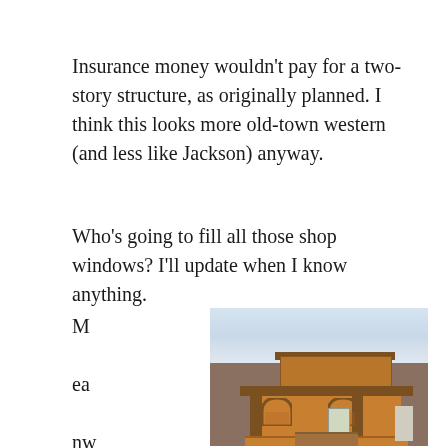Insurance money wouldn't pay for a two-story structure, as originally planned. I think this looks more old-town western (and less like Jackson) anyway.
Who's going to fill all those shop windows? I'll update when I know anything.
Meanwhile, an ot
[Figure (photo): A wooden one-story building with old-town western style facade, featuring a raised sign board, covered porch with posts and arches, wood railing, and a central door. Background shows overcast sky and distant buildings.]